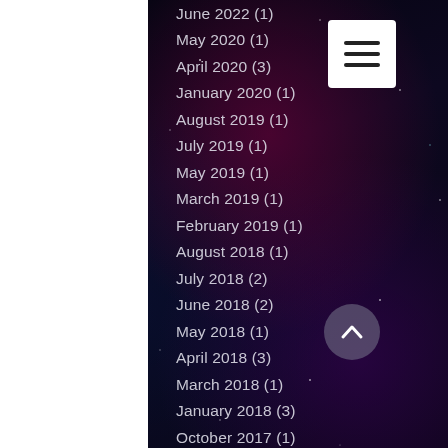June 2022 (1)
May 2020 (1)
April 2020 (3)
January 2020 (1)
August 2019 (1)
July 2019 (1)
May 2019 (1)
March 2019 (1)
February 2019 (1)
August 2018 (1)
July 2018 (2)
June 2018 (2)
May 2018 (1)
April 2018 (3)
March 2018 (1)
January 2018 (3)
October 2017 (1)
September 2017 (1)
August 2017 (1)
July 2017 (2)
June 2017 (1)
May 2017 (1)